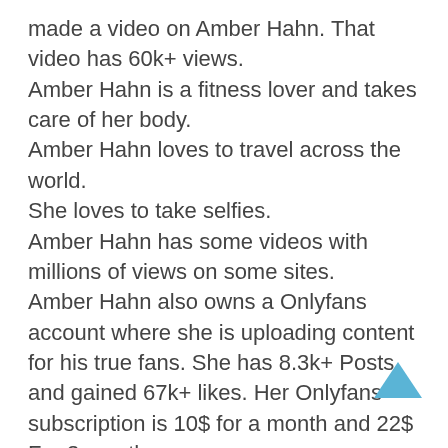made a video on Amber Hahn. That video has 60k+ views.
Amber Hahn is a fitness lover and takes care of her body.
Amber Hahn loves to travel across the world.
She loves to take selfies.
Amber Hahn has some videos with millions of views on some sites.
Amber Hahn also owns a Onlyfans account where she is uploading content for his true fans. She has 8.3k+ Posts and gained 67k+ likes. Her Onlyfans subscription is 10$ for a month and 22$ For 3 months.
Amber Hahn QNA :
How old Amber Hahn is ?
Ans. 29 Years Old.
When Amber Hahn celebrate her birthday?
Ans. 1 March